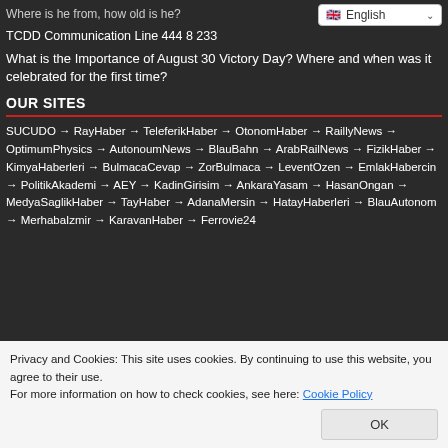Where is he from, how old is he?
TCDD Communication Line 444 8 233
What is the Importance of August 30 Victory Day? Where and when was it celebrated for the first time?
OUR SITES
SUCUDO → RayHaber → TeleferikHaber → OtonomHaber → RaillyNews → OptimumPhysics → AutonoumNews → BlauBahn → ArabRailNews → FizikHaber → KimyaHaberleri → BulmacaCevap → ZorBulmaca → LeventOzen → EmlakHabercin → PolitikAkademi → AEY → KadinGirisim → AnkaraYasam → HasanOngan → MedyaSaglikHaber → TayHaber → AdanaMersin → HatayHaberleri → BlauAutonom → MerhabaIzmir → KaravanHaber → Ferrovie24
Privacy and Cookies: This site uses cookies. By continuing to use this website, you agree to their use.
For more information on how to check cookies, see here: Cookie Policy